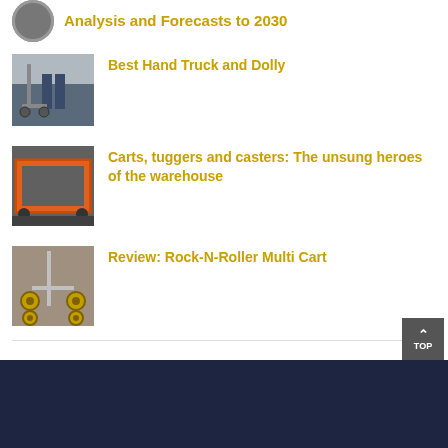Analysis and Forecasts to 2030
[Figure (photo): Hand truck and dolly product photo showing person using a hand truck]
Best Hand Truck and Dolly
[Figure (photo): Orange industrial cart/frame in a warehouse setting]
Carts, tuggers and casters: The unsung heroes of the warehouse
[Figure (photo): Rock-N-Roller multi cart product photo]
Review: Rock-N-Roller Multi Cart